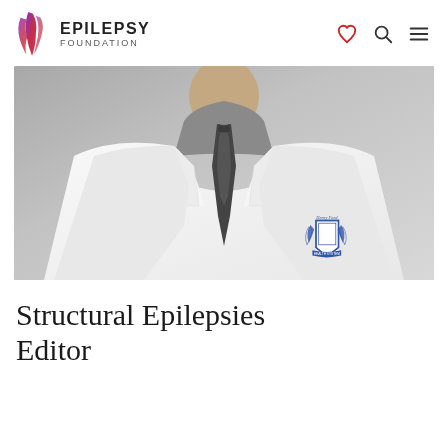EPILEPSY FOUNDATION
[Figure (photo): A doctor wearing a white lab coat with a Henry Ford hospital emblem/crest on the chest. The face is cropped out. The doctor wears a grey shirt and dark tie underneath the white coat. Background is grey.]
Structural Epilepsies Editor